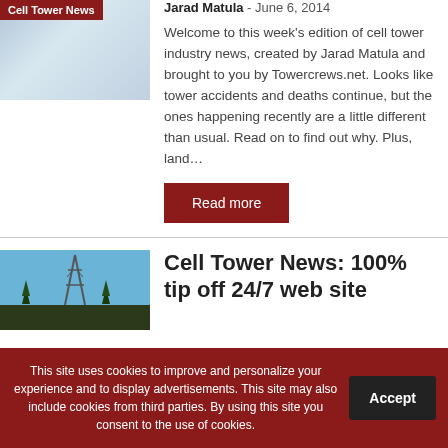[Figure (photo): Thumbnail image of cell tower with 'Cell Tower News' badge overlay]
Jarad Matula - June 6, 2014
Welcome to this week's edition of cell tower industry news, created by Jarad Matula and brought to you by Towercrews.net. Looks like tower accidents and deaths continue, but the ones happening recently are a little different than usual. Read on to find out why. Plus, land...
Read more
[Figure (photo): Photo of a cell tower against a blue sky with trees]
Cell Tower News: 100% tip off 24/7 web site
This site uses cookies to improve and personalize your experience and to display advertisements. This site may also include cookies from third parties. By using this site you consent to the use of cookies.